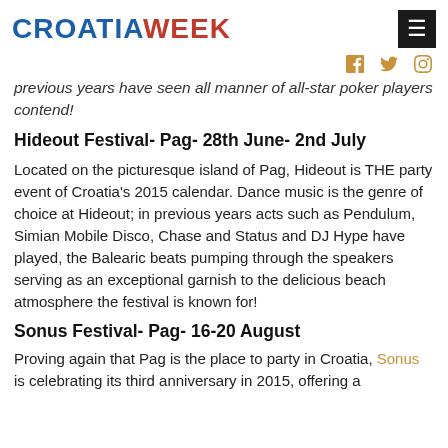CROATIAWEEK
previous years have seen all manner of all-star poker players contend!
Hideout Festival- Pag- 28th June- 2nd July
Located on the picturesque island of Pag, Hideout is THE party event of Croatia's 2015 calendar. Dance music is the genre of choice at Hideout; in previous years acts such as Pendulum, Simian Mobile Disco, Chase and Status and DJ Hype have played, the Balearic beats pumping through the speakers serving as an exceptional garnish to the delicious beach atmosphere the festival is known for!
Sonus Festival- Pag- 16-20 August
Proving again that Pag is the place to party in Croatia, Sonus is celebrating its third anniversary in 2015, offering a